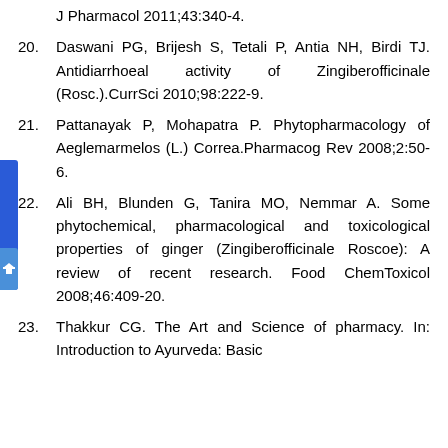J Pharmacol 2011;43:340-4.
20. Daswani PG, Brijesh S, Tetali P, Antia NH, Birdi TJ. Antidiarrhoeal activity of Zingiberofficinale (Rosc.).CurrSci 2010;98:222-9.
21. Pattanayak P, Mohapatra P. Phytopharmacology of Aeglemarmelos (L.) Correa.Pharmacog Rev 2008;2:50-6.
22. Ali BH, Blunden G, Tanira MO, Nemmar A. Some phytochemical, pharmacological and toxicological properties of ginger (Zingiberofficinale Roscoe): A review of recent research. Food ChemToxicol 2008;46:409-20.
23. Thakkur CG. The Art and Science of pharmacy. In: Introduction to Ayurveda: Basic